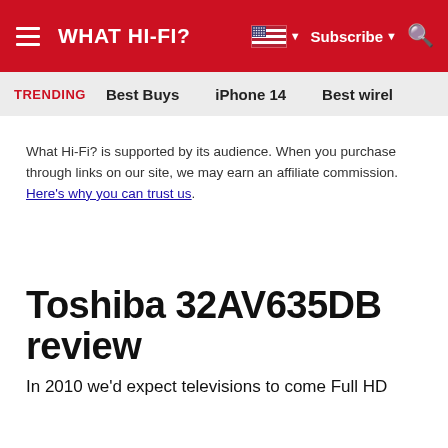WHAT HI-FI?
TRENDING   Best Buys   iPhone 14   Best wirel…
What Hi-Fi? is supported by its audience. When you purchase through links on our site, we may earn an affiliate commission. Here's why you can trust us.
Toshiba 32AV635DB review
In 2010 we'd expect televisions to come Full HD…